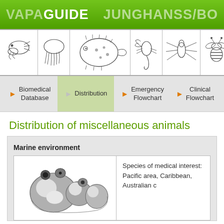VAPAGUIDE   JUNGHANSS/BO
[Figure (illustration): Row of animal icons: fish/crab, jellyfish, puffer fish, scorpion, water strider, bee/wasp, partial dark circle]
Biomedical Database   Distribution   Emergency Flowchart   Clinical Flowchart
Distribution of miscellaneous animals
Marine environment
[Figure (illustration): Illustration of sea squirt / tunicate organism (gray rounded blob shapes)]
Species of medical interest:
Pacific area, Caribbean, Australian c